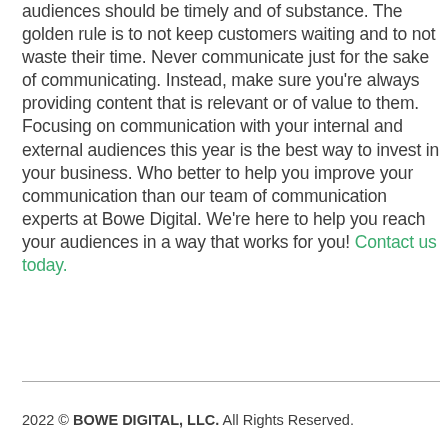audiences should be timely and of substance. The golden rule is to not keep customers waiting and to not waste their time. Never communicate just for the sake of communicating. Instead, make sure you're always providing content that is relevant or of value to them. Focusing on communication with your internal and external audiences this year is the best way to invest in your business. Who better to help you improve your communication than our team of communication experts at Bowe Digital. We're here to help you reach your audiences in a way that works for you! Contact us today.
2022 © BOWE DIGITAL, LLC. All Rights Reserved.